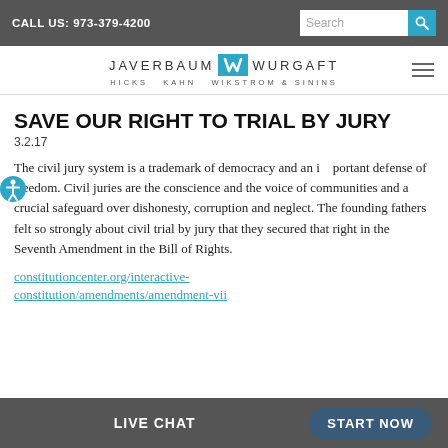CALL US: 973-379-4200
[Figure (logo): Javerbaum Wurgaft Hicks Kahn Wikstrom & Sinins law firm logo with teal JW emblem]
SAVE OUR RIGHT TO TRIAL BY JURY
3.2.17
The civil jury system is a trademark of democracy and an important defense of freedom. Civil juries are the conscience and the voice of communities and a crucial safeguard over dishonesty, corruption and neglect. The founding fathers felt so strongly about civil trial by jury that they secured that right in the Seventh Amendment in the Bill of Rights.
constitutioncenter.org/interactive-constitution/amendments/amendment-vii
LIVE CHAT   START NOW